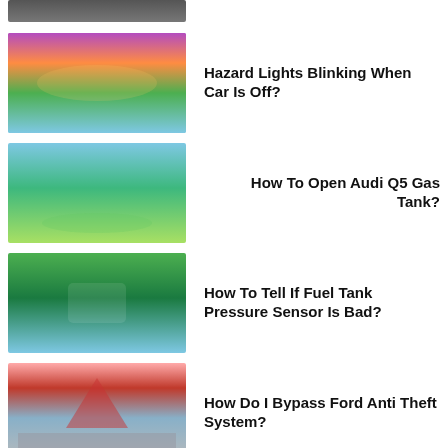[Figure (photo): Partial thumbnail at top, cropped]
Hazard Lights Blinking When Car Is Off?
How To Open Audi Q5 Gas Tank?
How To Tell If Fuel Tank Pressure Sensor Is Bad?
How Do I Bypass Ford Anti Theft System?
How To Bypass Anti Theft System On Chevy Cruze?
How Much Is 1 4 Tank Of Gas?
[Figure (photo): Partial thumbnail at bottom, cropped]